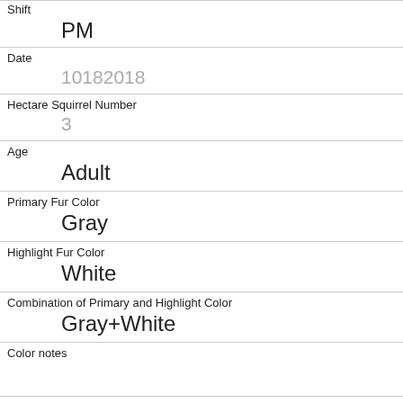Shift
PM
Date
10182018
Hectare Squirrel Number
3
Age
Adult
Primary Fur Color
Gray
Highlight Fur Color
White
Combination of Primary and Highlight Color
Gray+White
Color notes
Location
Ground Plane
Above Ground Sighter Measurement
FALSE
Specific Location